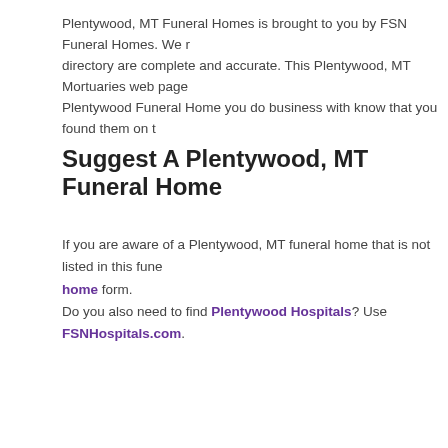Plentywood, MT Funeral Homes is brought to you by FSN Funeral Homes. We directory are complete and accurate. This Plentywood, MT Mortuaries web page Plentywood Funeral Home you do business with know that you found them on t
Suggest A Plentywood, MT Funeral Home
If you are aware of a Plentywood, MT funeral home that is not listed in this fune home form.
Do you also need to find Plentywood Hospitals? Use FSNHospitals.com.
Funeral Guides
Planning A Funeral
Monuments
Cremation Services Guide
Estate Planning
Grief Support Resources
Funeral Flower Planning
Funeral Etiquette
Additional F